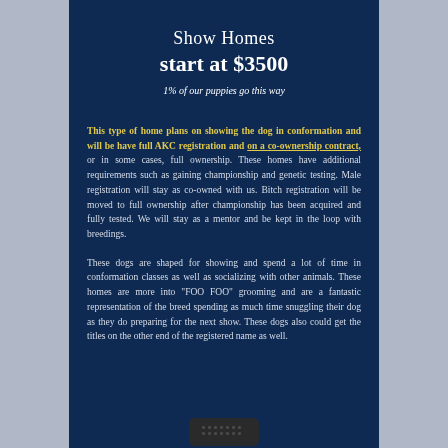Show Homes start at $3500
1% of our puppies go this way
This type of home plans on showing the dog in conformation and will be have full AKC registration and on a co-ownership contract, or in some cases, full ownership. These homes have additional requirements such as gaining championship and genetic testing. Male registration will stay as co-owned with us. Bitch registration will be moved to full ownership after championship has been acquired and fully tested. We will stay as a mentor and be kept in the loop with breedings.
These dogs are shaped for showing and spend a lot of time in conformation classes as well as socializing with other animals. These homes are more into "FOO FOO" grooming and are a fantastic representation of the breed spending as much time snuggling their dog as they do preparing for the next show. These dogs also could get the titles on the other end of the registered name as well.